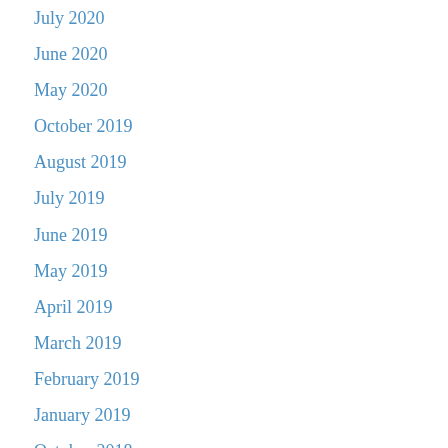July 2020
June 2020
May 2020
October 2019
August 2019
July 2019
June 2019
May 2019
April 2019
March 2019
February 2019
January 2019
October 2018
September 2018
August 2018
July 2018
June 2018
May 2018
April 2018
March 2018